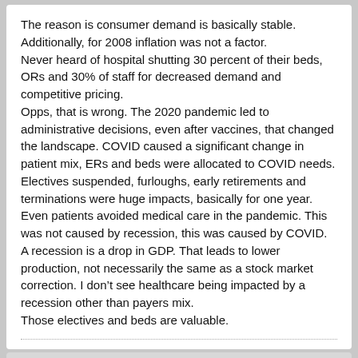The reason is consumer demand is basically stable. Additionally, for 2008 inflation was not a factor. Never heard of hospital shutting 30 percent of their beds, ORs and 30% of staff for decreased demand and competitive pricing. Opps, that is wrong. The 2020 pandemic led to administrative decisions, even after vaccines, that changed the landscape. COVID caused a significant change in patient mix, ERs and beds were allocated to COVID needs. Electives suspended, furloughs, early retirements and terminations were huge impacts, basically for one year. Even patients avoided medical care in the pandemic. This was not caused by recession, this was caused by COVID. A recession is a drop in GDP. That leads to lower production, not necessarily the same as a stock market correction. I don't see healthcare being impacted by a recession other than payers mix. Those electives and beds are valuable.
BruinBones
F.I.R.E. Surgeon
Join Date: May 2018   Posts: 291